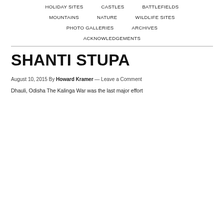HOLIDAY SITES   CASTLES   BATTLEFIELDS
MOUNTAINS   NATURE   WILDLIFE SITES
PHOTO GALLERIES   ARCHIVES
ACKNOWLEDGEMENTS
SHANTI STUPA
August 10, 2015 By Howard Kramer — Leave a Comment
Dhauli, Odisha The Kalinga War was the last major effort